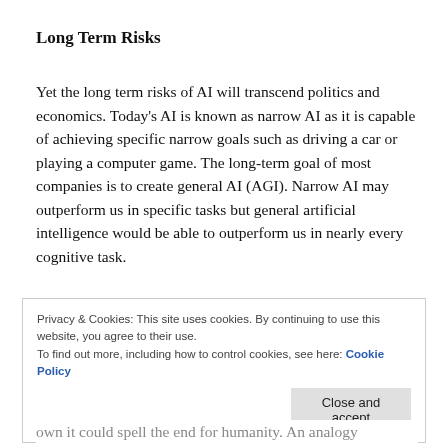Long Term Risks
Yet the long term risks of AI will transcend politics and economics. Today’s AI is known as narrow AI as it is capable of achieving specific narrow goals such as driving a car or playing a computer game. The long-term goal of most companies is to create general AI (AGI). Narrow AI may outperform us in specific tasks but general artificial intelligence would be able to outperform us in nearly every cognitive task.
Privacy & Cookies: This site uses cookies. By continuing to use this website, you agree to their use.
To find out more, including how to control cookies, see here: Cookie Policy
own it could spell the end for humanity. An analogy